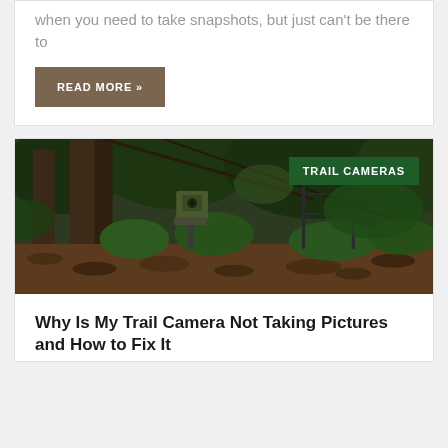when you need to take snapshots, but just can't be there to
READ MORE »
[Figure (photo): Trail camera mounted on a tree in a dense tropical forest. A green sign overlay in the upper right reads 'TRAIL CAMERAS'.]
Why Is My Trail Camera Not Taking Pictures and How to Fix It